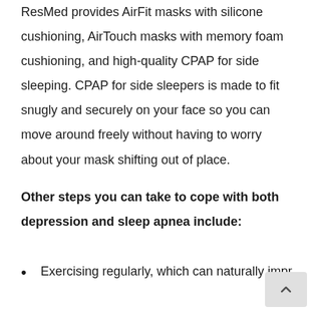ResMed provides AirFit masks with silicone cushioning, AirTouch masks with memory foam cushioning, and high-quality CPAP for side sleeping. CPAP for side sleepers is made to fit snugly and securely on your face so you can move around freely without having to worry about your mask shifting out of place.
Other steps you can take to cope with both depression and sleep apnea include:
Exercising regularly, which can naturally impr